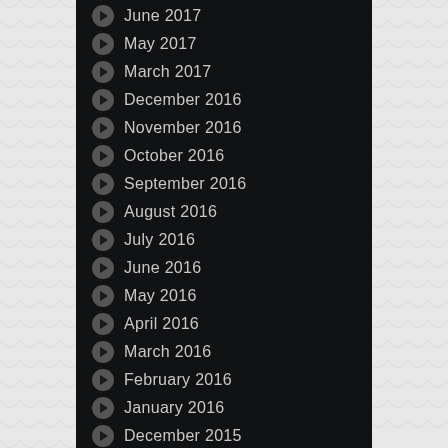June 2017
May 2017
March 2017
December 2016
November 2016
October 2016
September 2016
August 2016
July 2016
June 2016
May 2016
April 2016
March 2016
February 2016
January 2016
December 2015